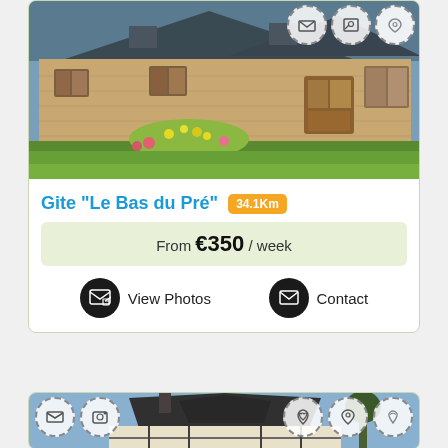[Figure (photo): Exterior photo of a French stone farmhouse gite with brown shutters and flower garden in front]
Gite "Le Bas du Pré" 34.1Km
From €350 / week
View Photos
Contact
[Figure (photo): Exterior photo of a Norman-style timber-frame house with steep dark roof]